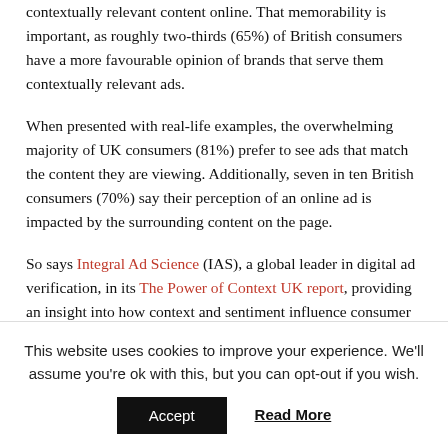contextually relevant content online. That memorability is important, as roughly two-thirds (65%) of British consumers have a more favourable opinion of brands that serve them contextually relevant ads.
When presented with real-life examples, the overwhelming majority of UK consumers (81%) prefer to see ads that match the content they are viewing. Additionally, seven in ten British consumers (70%) say their perception of an online ad is impacted by the surrounding content on the page.
So says Integral Ad Science (IAS), a global leader in digital ad verification, in its The Power of Context UK report, providing an insight into how context and sentiment influence consumer
This website uses cookies to improve your experience. We'll assume you're ok with this, but you can opt-out if you wish.